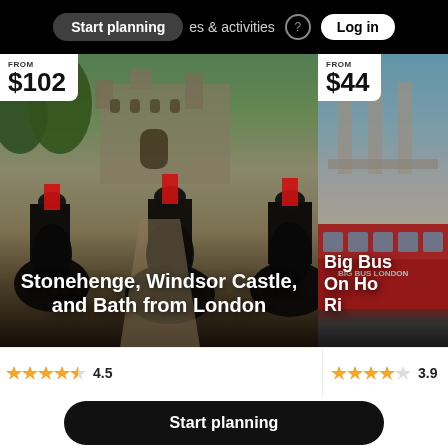Start planning   tours & activities   Log in
[Figure (photo): Photo of horse guards in ceremonial uniform on horseback in front of Windsor Castle, with text overlay showing price FROM $102 and title 'Stonehenge, Windsor Castle, and Bath from London']
[Figure (photo): Partial photo of Big Bus London double-decker red tour bus with a neoclassical building in background, with text overlay showing price FROM $44 and partial title 'Big Bus... On Ho... Ri...']
4.5
3.9
Start planning